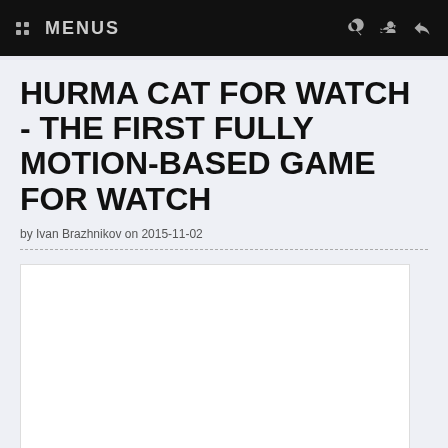MENUS
HURMA CAT FOR WATCH - THE FIRST FULLY MOTION-BASED GAME FOR WATCH
by Ivan Brazhnikov on 2015-11-02
[Figure (other): White image box placeholder with Size: 23.4 MB info at the bottom]